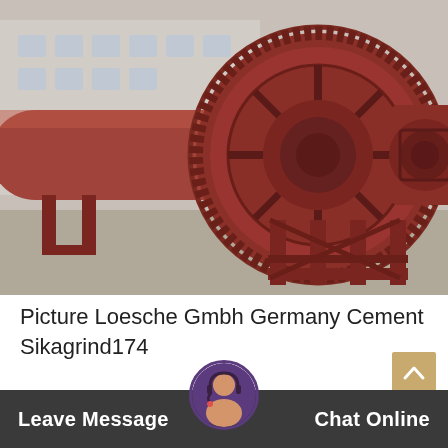[Figure (photo): Industrial ball mill / grinding mill equipment painted rust-red/brown, with large gear ring visible, mounted on a support frame outdoors in an industrial yard. A long cylindrical drum extends to the left. Building visible in background.]
Picture Loesche Gmbh Germany Cement Sikagrind174
Cement production wi... installed mills comes
Leave Message    Chat Online